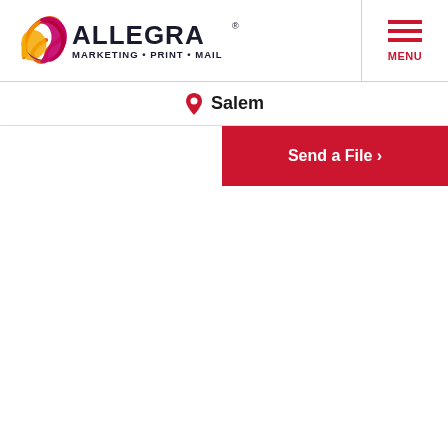ALLEGRA MARKETING • PRINT • MAIL
MENU
Salem
Send a File ›